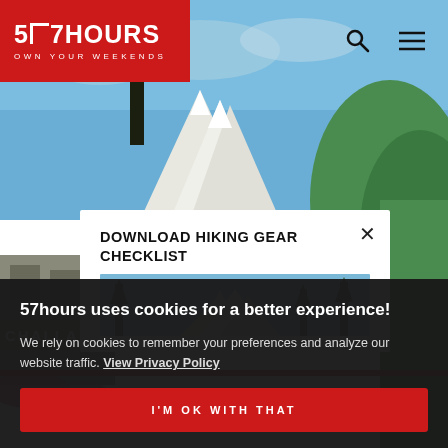57HOURS Own your weekends
[Figure (photo): Mountain landscape hero background with blue sky, snowy peaks, green hillsides, and a building partially visible on the left with 'CHALLA' text]
DOWNLOAD HIKING GEAR CHECKLIST
[Figure (photo): Small preview image of a mountain scene with snow-capped peaks and pine trees inside the modal popup]
57hours uses cookies for a better experience!
We rely on cookies to remember your preferences and analyze our website traffic. View Privacy Policy
I'M OK WITH THAT
Day
with